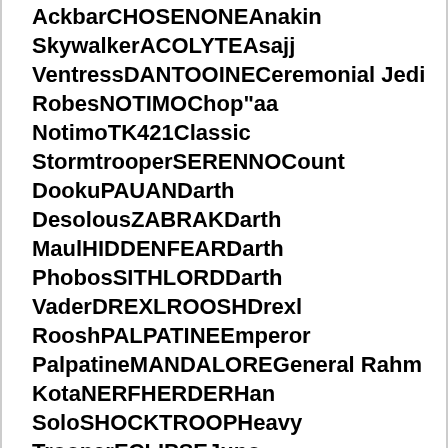AckbarCHOSENONEAnakin SkywalkerACOLYTEAsajj VentressDANTOOINECeremonial Jedi RobesNOTIMOChop"aa NotimoTK421Classic StormtrooperSERENNOCount DookuPAUANDarth DesolousZABRAKDarth MaulHIDDENFEARDarth PhobosSITHLORDDarth VaderDREXLROOSHDrexl RooshPALPATINEEmperor PalpatineMANDALOREGeneral Rahm KotaNERFHERDERHan SoloSHOCKTROOPHeavy TrooperECLIPSEJuno EclipseWOOKIEEKento"s RobeKLEEFKleefSCOUNDRELLando CalrissianT16WOMPRATLuke SkywalkerJEDIMASTERMace WinduMARAJADEMara JadeMARISBROODMaris BroodSTORMTROOPNavy CommandoBENKENOBIObi Wan